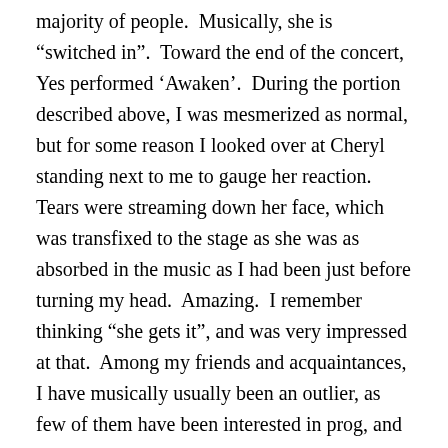majority of people. Musically, she is “switched in”. Toward the end of the concert, Yes performed ‘Awaken’. During the portion described above, I was mesmerized as normal, but for some reason I looked over at Cheryl standing next to me to gauge her reaction. Tears were streaming down her face, which was transfixed to the stage as she was as absorbed in the music as I had been just before turning my head. Amazing. I remember thinking “she gets it”, and was very impressed at that. Among my friends and acquaintances, I have musically usually been an outlier, as few of them have been interested in prog, and certainly not anywhere to the same degree as me. Some of them have even heard ‘Awaken’ in my presence and have given me strange looks that say “what the heck is